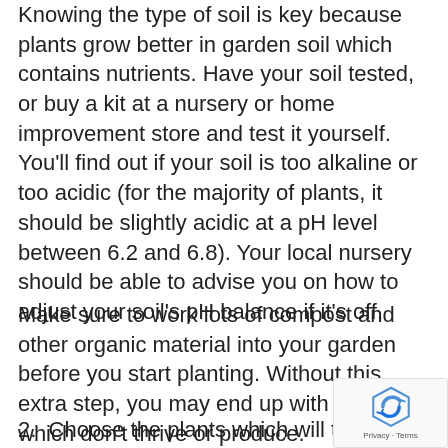Knowing the type of soil is key because plants grow better in garden soil which contains nutrients. Have your soil tested, or buy a kit at a nursery or home improvement store and test it yourself. You'll find out if your soil is too alkaline or too acidic (for the majority of plants, it should be slightly acidic at a pH level between 6.2 and 6.8). Your local nursery should be able to advise you on how to adjust your soil's pH balance if it's off.
Make sure to work lots of compost and other organic material into your garden before you start planting. Without this extra step, you may end up with plants which don't thrive or produce.
2.  Choose the plants which will thrive in your region.